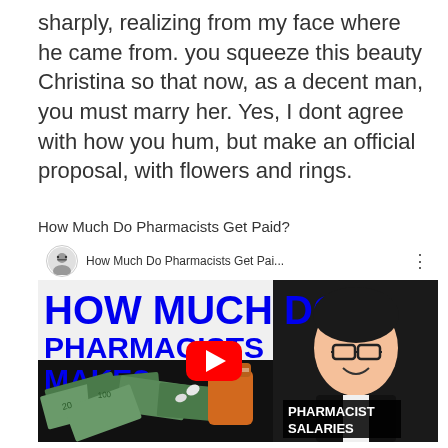sharply, realizing from my face where he came from. you squeeze this beauty Christina so that now, as a decent man, you must marry her. Yes, I dont agree with how you hum, but make an official proposal, with flowers and rings.
How Much Do Pharmacists Get Paid?
[Figure (screenshot): YouTube video thumbnail: 'How Much Do Pharmacists Get Pai...' with a person smiling wearing glasses, large blue bold text reading 'HOW MUCH DO PHARMACISTS MAKE?', a red YouTube play button, money bills, a pill bottle, and a black box with 'PHARMACIST SALARIES']